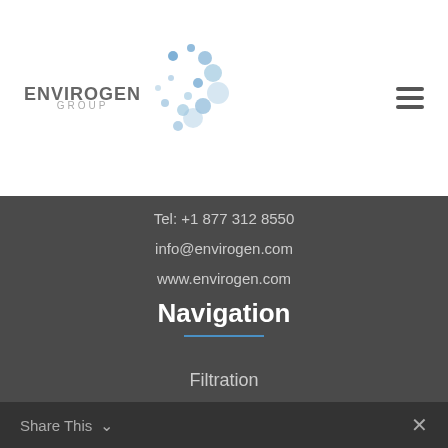[Figure (logo): Envirogen Group logo with blue dots pattern and company name]
Tel: +1 877 312 8550
info@envirogen.com
www.envirogen.com
Navigation
Home
About Us
Products
Technologies
Filtration
Share This